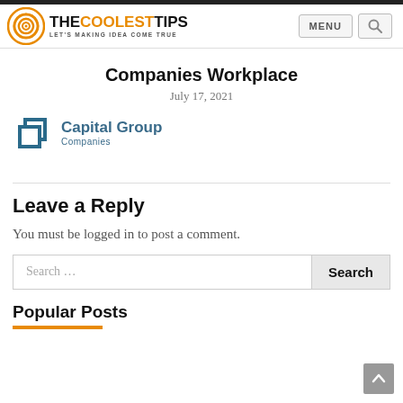THE COOLEST TIPS — LET'S MAKING IDEA COME TRUE
Companies Workplace
July 17, 2021
[Figure (logo): Capital Group Companies logo — blue overlapping squares icon with 'Capital Group Companies' text]
Leave a Reply
You must be logged in to post a comment.
Popular Posts